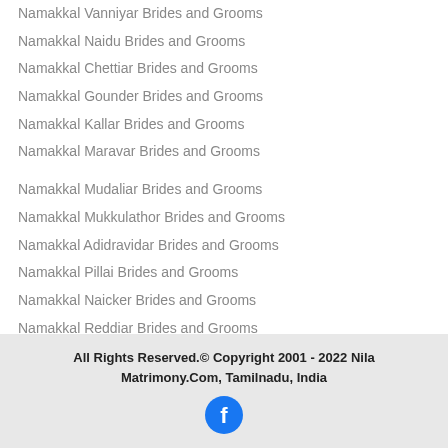Namakkal Vanniyar Brides and Grooms
Namakkal Naidu Brides and Grooms
Namakkal Chettiar Brides and Grooms
Namakkal Gounder Brides and Grooms
Namakkal Kallar Brides and Grooms
Namakkal Maravar Brides and Grooms
Namakkal Mudaliar Brides and Grooms
Namakkal Mukkulathor Brides and Grooms
Namakkal Adidravidar Brides and Grooms
Namakkal Pillai Brides and Grooms
Namakkal Naicker Brides and Grooms
Namakkal Reddiar Brides and Grooms
Namakkal Senaithalaivar Brides and Grooms
Namakkal Muthuraja Brides and Grooms
Namakkal Vishwakarma Brides and Grooms
More Namakkal Tamil Community Brides and Grooms
All Rights Reserved.© Copyright 2001 - 2022 Nila Matrimony.Com, Tamilnadu, India